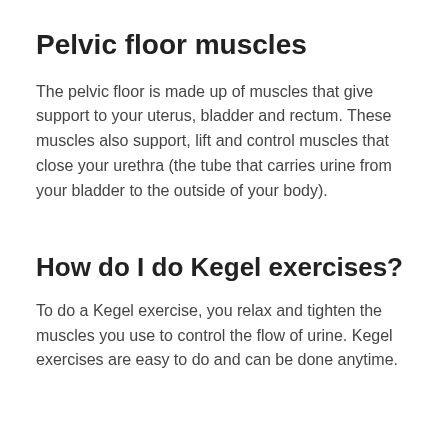Pelvic floor muscles
The pelvic floor is made up of muscles that give support to your uterus, bladder and rectum. These muscles also support, lift and control muscles that close your urethra (the tube that carries urine from your bladder to the outside of your body).
How do I do Kegel exercises?
To do a Kegel exercise, you relax and tighten the muscles you use to control the flow of urine. Kegel exercises are easy to do and can be done anytime.